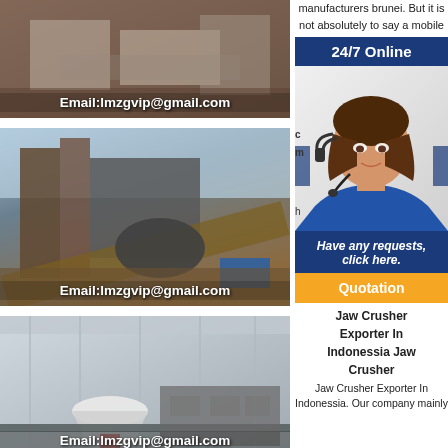[Figure (photo): Industrial machinery interior with Email:lmzgvip@gmail.com overlay]
[Figure (photo): Outdoor industrial crusher equipment with Email:lmzgvip@gmail.com overlay]
[Figure (photo): Indoor large industrial processing machinery with Email:lmzgvip@gmail.com overlay]
manufacturers brunei. But it is not absolutely to say a mobile
24/7 Online
[Figure (photo): Customer service agent woman with headset]
Have any requests, click here.
Quotation
Jaw Crusher Exporter In Indonessia Jaw Crusher
Jaw Crusher Exporter In Indonessia. Our company mainly